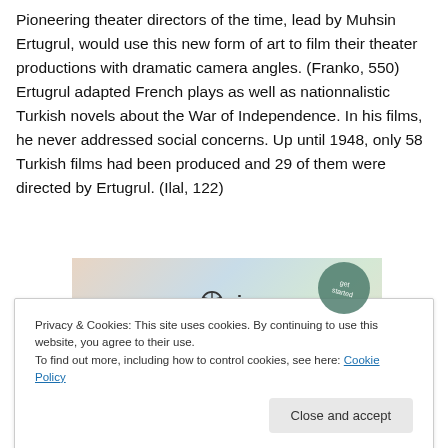Pioneering theater directors of the time, lead by Muhsin Ertugrul, would use this new form of art to film their theater productions with dramatic camera angles. (Franko, 550) Ertugrul adapted French plays as well as nationnalistic Turkish novels about the War of Independence. In his films, he never addressed social concerns. Up until 1948, only 58 Turkish films had been produced and 29 of them were directed by Ertugrul. (Ilal, 122)
[Figure (other): WordPress VIP advertisement banner with 'Learn more' button and decorative balloon graphic]
Privacy & Cookies: This site uses cookies. By continuing to use this website, you agree to their use.
To find out more, including how to control cookies, see here: Cookie Policy